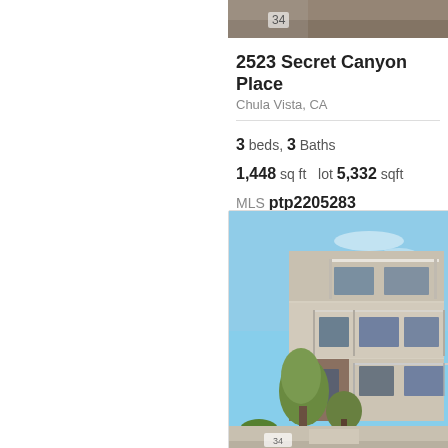[Figure (photo): Top strip of a property interior/detail photo, partially cropped]
2523 Secret Canyon Place
Chula Vista, CA
3 beds, 3 Baths
1,448 sq ft   lot 5,332 sqft
MLS ptp2205283
[Figure (photo): Exterior photo of a modern multi-story residential building with balconies, trees, and landscaping under a blue sky]